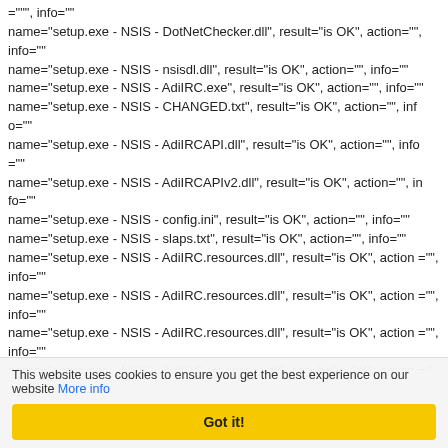="", info=""
name="setup.exe - NSIS - DotNetChecker.dll", result="is OK", action="", info=""
name="setup.exe - NSIS - nsisdl.dll", result="is OK", action="", info=""
name="setup.exe - NSIS - AdiIRC.exe", result="is OK", action="", info=""
name="setup.exe - NSIS - CHANGED.txt", result="is OK", action="", info=""
name="setup.exe - NSIS - AdiIRCAPI.dll", result="is OK", action="", info=""
name="setup.exe - NSIS - AdiIRCAPIv2.dll", result="is OK", action="", info=""
name="setup.exe - NSIS - config.ini", result="is OK", action="", info=""
name="setup.exe - NSIS - slaps.txt", result="is OK", action="", info=""
name="setup.exe - NSIS - AdiIRC.resources.dll", result="is OK", action="", info=""
name="setup.exe - NSIS - AdiIRC.resources.dll", result="is OK", action="", info=""
name="setup.exe - NSIS - AdiIRC.resources.dll", result="is OK", action="", info=""
name="setup.exe - NSIS - AdiIRC.resources.dll", result="is OK", action="", info=""
name="setup.exe - NSIS - Sublime-like-AdiIRC-theme.ini", result="is O
This website uses cookies to ensure you get the best experience on our website More info
Got it!